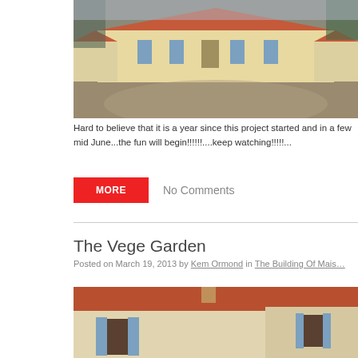[Figure (photo): Exterior photo of a French-style single-storey house with terracotta roof tiles and blue shutters, surrounded by a gravel driveway.]
Hard to believe that it is a year since this project started and in a few mid June...the fun will begin!!!!!!....keep watching!!!!!...
MORE
No Comments
The Vege Garden
Posted on March 19, 2013 by Kem Ormond in The Building Of Mais…
[Figure (photo): Partial view of the same French-style house showing the upper facade with blue shutters, terracotta roof, and rendered walls.]